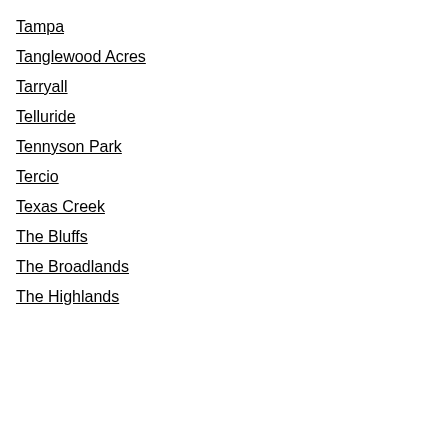Tampa
Tanglewood Acres
Tarryall
Telluride
Tennyson Park
Tercio
Texas Creek
The Bluffs
The Broadlands
The Highlands